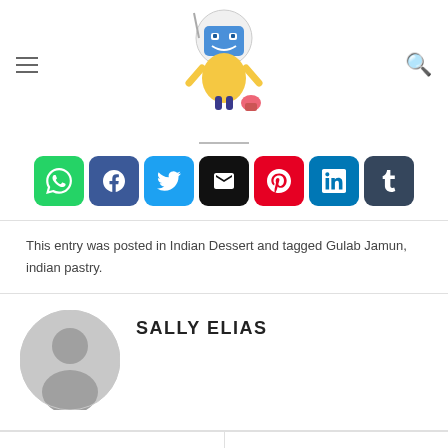The Cake MD (logo/header with navigation)
[Figure (other): Row of social share buttons: WhatsApp (green), Facebook (blue), Twitter (light blue), Email (black), Pinterest (red), LinkedIn (blue), Tumblr (dark blue)]
This entry was posted in Indian Dessert and tagged Gulab Jamun, indian pastry.
[Figure (other): Author avatar placeholder - grey silhouette of a person]
SALLY ELIAS
Bizcocho Dominicano
Vegan Coconut Ganache